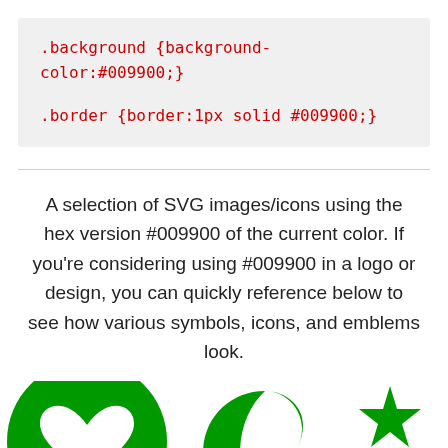.background {background-color:#009900;}
.border {border:1px solid #009900;}
A selection of SVG images/icons using the hex version #009900 of the current color. If you're considering using #009900 in a logo or design, you can quickly reference below to see how various symbols, icons, and emblems look.
[Figure (illustration): Three green (#009900) SVG icons: a heart/face icon on the left, a crescent moon symbol in the center, and stars on the right]